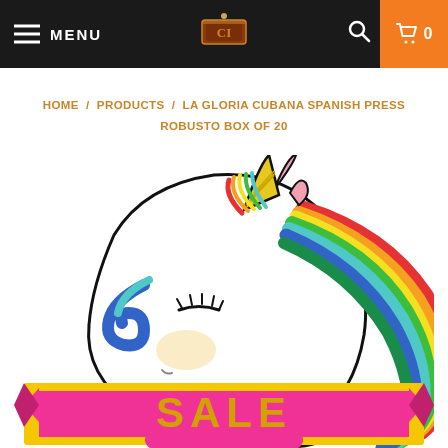MENU | CI Logo | Search | Cart 0
HOME / PRODUCTS / LA GLORIA CUBANA SPANISH PRESS ROBUSTO BOX OF 20
[Figure (illustration): Cartoon unicorn illustration with rainbow mane and a pink ribbon banner at the bottom with 'SALE' text in yellow/gold letters on a pink background with golden border ribbon.]